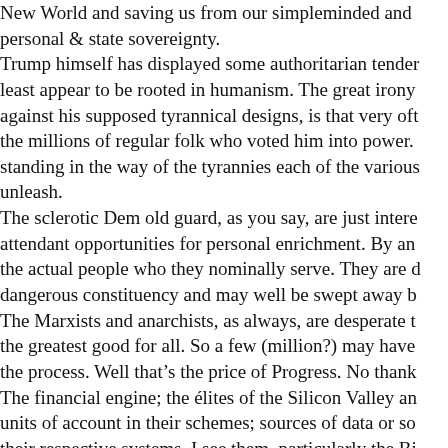New World and saving us from our simpleminded and personal & state sovereignty. Trump himself has displayed some authoritarian tenden... least appear to be rooted in humanism. The great irony against his supposed tyrannical designs, is that very oft... the millions of regular folk who voted him into power. standing in the way of the tyrannies each of the various... unleash. The sclerotic Dem old guard, as you say, are just intere... attendant opportunities for personal enrichment. By an... the actual people who they nominally serve. They are d... dangerous constituency and may well be swept away b... The Marxists and anarchists, as always, are desperate t... the greatest good for all. So a few (million?) may have... the process. Well that’s the price of Progress. No thank... The financial engine; the élites of the Silicon Valley an... units of account in their schemes; sources of data or so... their respective systems. I see them, particularly the Bi... fascists, as the most dangerous. Davos chair Klaus Sch...